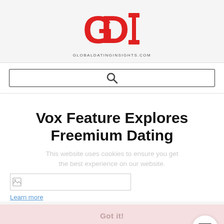[Figure (logo): GDI logo — large red letters G, D, I with bold slab-serif style]
GLOBALDATINGINSIGHTS.COM
[Figure (other): Search bar with magnifying glass icon]
Vox Feature Explores Freemium Dating
This website uses cookies to ensure you get the best experience on our website.
[Figure (other): Article thumbnail image placeholder with broken image icon]
Learn more
Got it!
[Figure (other): Hamburger menu button, circular white button with three horizontal lines]